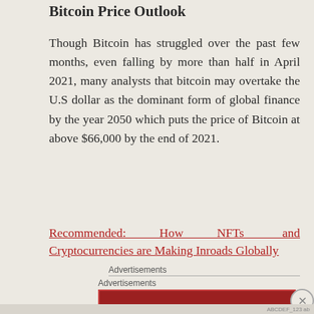Bitcoin Price Outlook
Though Bitcoin has struggled over the past few months, even falling by more than half in April 2021, many analysts that bitcoin may overtake the U.S dollar as the dominant form of global finance by the year 2050 which puts the price of Bitcoin at above $66,000 by the end of 2021.
Recommended: How NFTs and Cryptocurrencies are Making Inroads Globally
Advertisements
Advertisements
[Figure (other): Longreads advertisement banner: red background with circular logo, line decorations, brand name LONGREADS, tagline 'The best stories on the web — ours, and everyone else's.']